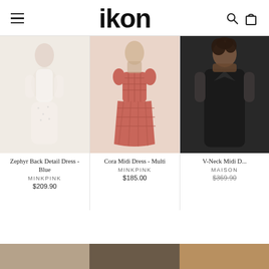ikon — navigation header with hamburger menu, logo, search and cart icons
[Figure (photo): Model wearing Zephyr Back Detail Dress in Blue (white/light blue floral), MINKPINK]
Zephyr Back Detail Dress - Blue
MINKPINK
$209.90
[Figure (photo): Model wearing Cora Midi Dress in Multi (red/pink gingham check), MINKPINK]
Cora Midi Dress - Multi
MINKPINK
$185.00
[Figure (photo): Model wearing V-Neck Midi Dress (black), MAISON]
V-Neck Midi D...
MAISON
$369.90
[Figure (photo): Bottom strip showing lifestyle/campaign imagery in warm tones]